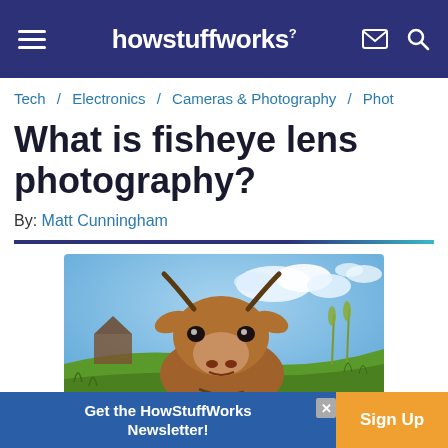howstuffworks
Tech / Electronics / Cameras & Photography / Phot
What is fisheye lens photography?
By: Matt Cunningham
[Figure (photo): A brown cow viewed from below with a fisheye lens perspective, standing in a green field with blue sky and clouds behind it.]
Get the HowStuffWorks Newsletter! Sign Up